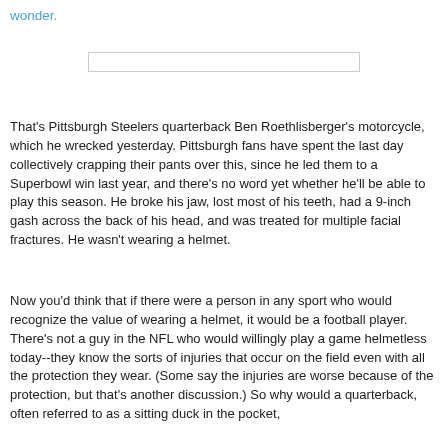wonder.
[Figure (screenshot): A horizontal search/input bar with a light gray border on a white background.]
That's Pittsburgh Steelers quarterback Ben Roethlisberger's motorcycle, which he wrecked yesterday. Pittsburgh fans have spent the last day collectively crapping their pants over this, since he led them to a Superbowl win last year, and there's no word yet whether he'll be able to play this season. He broke his jaw, lost most of his teeth, had a 9-inch gash across the back of his head, and was treated for multiple facial fractures. He wasn't wearing a helmet.
Now you'd think that if there were a person in any sport who would recognize the value of wearing a helmet, it would be a football player. There's not a guy in the NFL who would willingly play a game helmetless today--they know the sorts of injuries that occur on the field even with all the protection they wear. (Some say the injuries are worse because of the protection, but that's another discussion.) So why would a quarterback, often referred to as a sitting duck in the pocket,